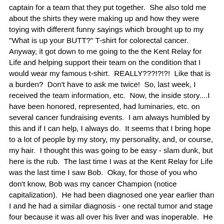captain for a team that they put together.  She also told me about the shirts they were making up and how they were toying with different funny sayings which brought up to my "What is up your BUTT?" T-shirt for colorectal cancer.  Anyway, it got down to me going to the the Kent Relay for Life and helping support their team on the condition that I would wear my famous t-shirt.  REALLY???!?!?!  Like that is a burden?  Don't have to ask me twice!  So, last week, I received the team information, etc.  Now, the inside story....I have been honored, represented, had luminaries, etc. on several cancer fundraising events.  I am always humbled by this and if I can help, I always do.  It seems that I bring hope to a lot of people by my story, my personality, and, or course, my hair.  I thought this was going to be easy - slam dunk, but here is the rub.  The last time I was at the Kent Relay for Life was the last time I saw Bob.  Okay, for those of you who don't know, Bob was my cancer Champion (notice capitalization).  He had been diagnosed one year earlier than I and he had a similar diagnosis - one rectal tumor and stage four because it was all over his liver and was inoperable.  He was funny, kind, and I could ask him ANYTHING.  We were both terminal.  The difference is the chemo worked better on